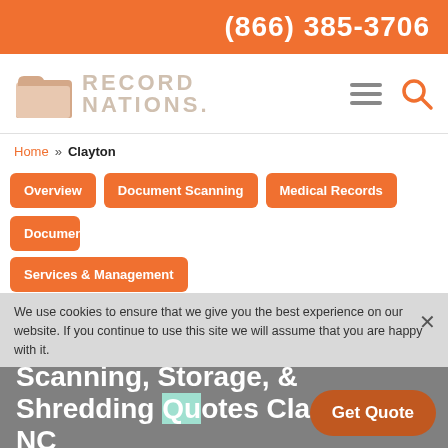(866) 385-3706
[Figure (logo): Record Nations logo with folder icon and text]
Home » Clayton
Overview
Document Scanning
Medical Records
Document
Services & Management
Document Storage
Document Destruction
Contact
We use cookies to ensure that we give you the best experience on our website. If you continue to use this site we will assume that you are happy with it.
Scanning, Storage, & Shredding Quotes Cla NC